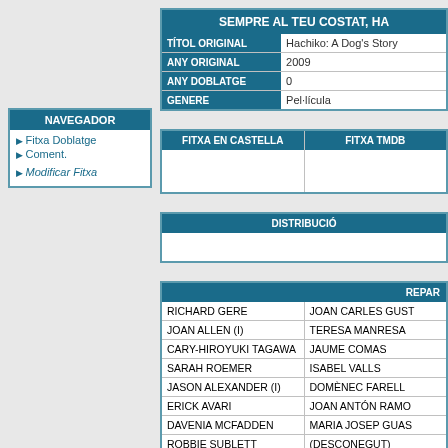| SEMPRE AL TEU COSTAT, HA... |
| --- |
| TÍTOL ORIGINAL | Hachiko: A Dog's Story |
| ANY ORIGINAL | 2009 |
| ANY DOBLATGE | 0 |
| GENERE | Pel·lícula |
| NAVEGADOR |
| --- |
| Fitxa Doblatge |
| Coment. |
| Modificar Fitxa |
| FITXA EN CASTELLA | FITXA TMDB |
| --- | --- |
|  |  |
| DISTRIBUCIÓ |
| --- |
|  |
| REPAR... |
| --- |
| RICHARD GERE | JOAN CARLES GUST... |
| JOAN ALLEN (I) | TERESA MANRESA |
| CARY-HIROYUKI TAGAWA | JAUME COMAS |
| SARAH ROEMER | ISABEL VALLS |
| JASON ALEXANDER (I) | DOMÈNEC FARELL |
| ERICK AVARI | JOAN ANTÓN RAMO... |
| DAVENIA MCFADDEN | MARIA JOSEP GUAS... |
| ROBBIE SUBLETT | (DESCONEGUT) |
| KEVIN DECOSTE | NÚRIA TRIFOL |
| TORA HALLSTROM | LARA ULLOD |